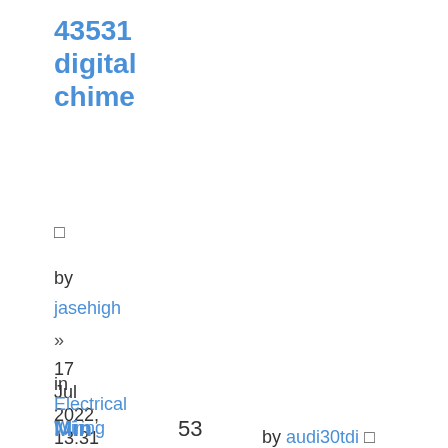43531 digital chime
□
by
jasehigh
»
17 Jul 2022, 13:31
»
in
Electrical Wiring
Min  53  by audi30tdi □